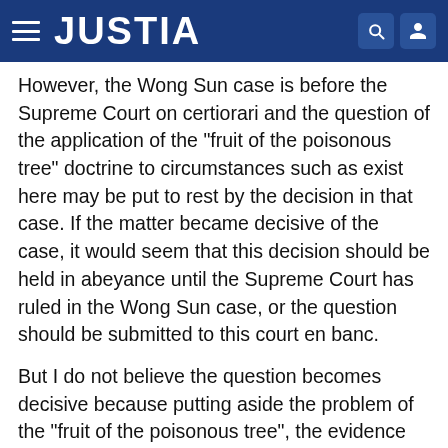JUSTIA
However, the Wong Sun case is before the Supreme Court on certiorari and the question of the application of the "fruit of the poisonous tree" doctrine to circumstances such as exist here may be put to rest by the decision in that case. If the matter became decisive of the case, it would seem that this decision should be held in abeyance until the Supreme Court has ruled in the Wong Sun case, or the question should be submitted to this court en banc.
But I do not believe the question becomes decisive because putting aside the problem of the "fruit of the poisonous tree", the evidence utterly fails to establish the probable cause which the majority finds was alleged in the first and fifth paragraphs of the affidavit. When all the evidence was in, the only evidence in support of the allegations of the first paragraph of the affidavit, was the